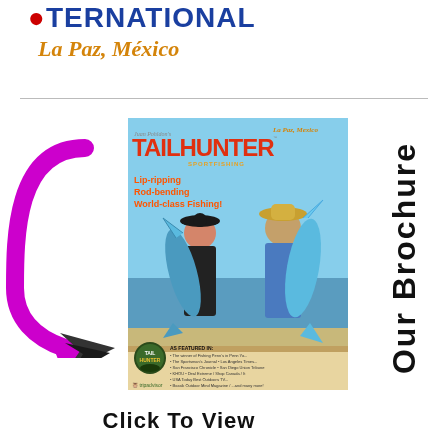[Figure (logo): Partial logo text showing 'TERNATION' in blue with red circular element, La Paz Mexico logo]
La Paz, México
[Figure (photo): Tailhunter Sportfishing brochure cover showing two anglers holding large fish, with purple arrow pointing to it and text 'Click To View']
Our Brochure
Click To View